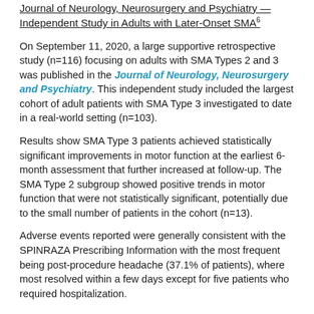Journal of Neurology, Neurosurgery and Psychiatry — Independent Study in Adults with Later-Onset SMA6
On September 11, 2020, a large supportive retrospective study (n=116) focusing on adults with SMA Types 2 and 3 was published in the Journal of Neurology, Neurosurgery and Psychiatry. This independent study included the largest cohort of adult patients with SMA Type 3 investigated to date in a real-world setting (n=103).
Results show SMA Type 3 patients achieved statistically significant improvements in motor function at the earliest 6-month assessment that further increased at follow-up. The SMA Type 2 subgroup showed positive trends in motor function that were not statistically significant, potentially due to the small number of patients in the cohort (n=13).
Adverse events reported were generally consistent with the SPINRAZA Prescribing Information with the most frequent being post-procedure headache (37.1% of patients), where most resolved within a few days except for five patients who required hospitalization.